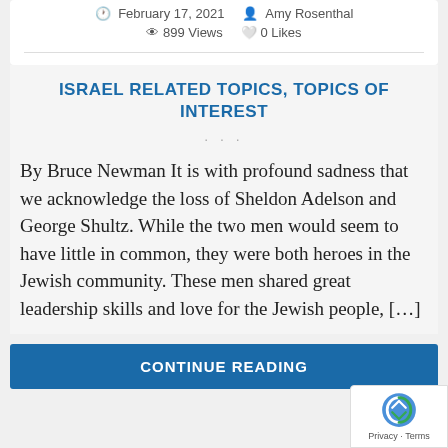February 17, 2021   Amy Rosenthal   899 Views   0 Likes
ISRAEL RELATED TOPICS, TOPICS OF INTEREST
By Bruce Newman It is with profound sadness that we acknowledge the loss of Sheldon Adelson and George Shultz. While the two men would seem to have little in common, they were both heroes in the Jewish community. These men shared great leadership skills and love for the Jewish people, […]
CONTINUE READING